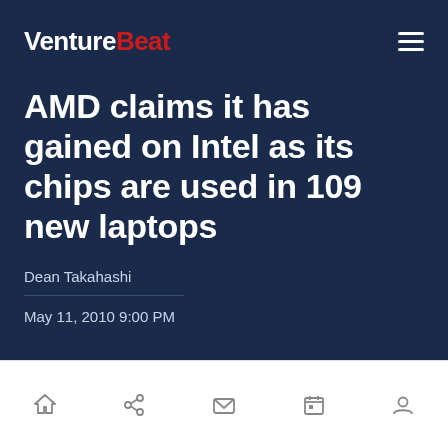VentureBeat
AMD claims it has gained on Intel as its chips are used in 109 new laptops
Dean Takahashi
May 11, 2010 9:00 PM